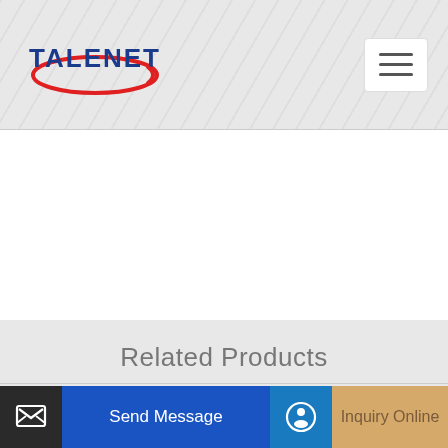[Figure (logo): TALENET company logo with red oval swoosh and blue bold text]
Related Products
Reliable Sealing 1000 ton Cement Silo
Concrete pump IHI IPF 100B 8E26 4
Send Message
Inquiry Online